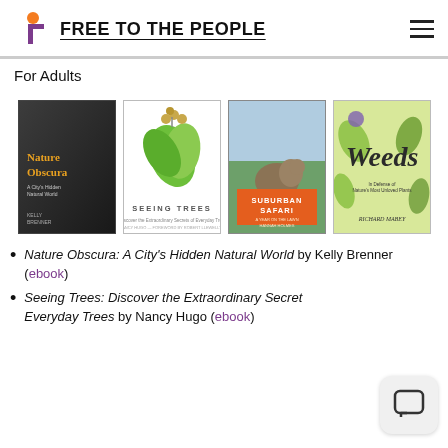FREE TO THE PEOPLE
For Adults
[Figure (photo): Four book covers: Nature Obscura, Seeing Trees, Suburban Safari, Weeds]
Nature Obscura: A City's Hidden Natural World by Kelly Brenner (ebook)
Seeing Trees: Discover the Extraordinary Secrets of Everyday Trees by Nancy Hugo (ebook)